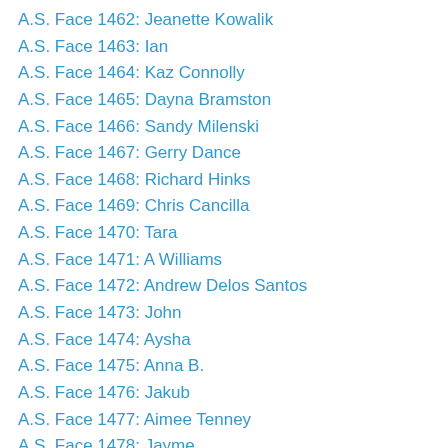A.S. Face 1462: Jeanette Kowalik
A.S. Face 1463: Ian
A.S. Face 1464: Kaz Connolly
A.S. Face 1465: Dayna Bramston
A.S. Face 1466: Sandy Milenski
A.S. Face 1467: Gerry Dance
A.S. Face 1468: Richard Hinks
A.S. Face 1469: Chris Cancilla
A.S. Face 1470: Tara
A.S. Face 1471: A Williams
A.S. Face 1472: Andrew Delos Santos
A.S. Face 1473: John
A.S. Face 1474: Aysha
A.S. Face 1475: Anna B.
A.S. Face 1476: Jakub
A.S. Face 1477: Aimee Tenney
A.S. Face 1478: Jayme
A.S. Face 1479: Christelle
A.S. Face 1480: Bethany
A.S. Face 1481: Leyla